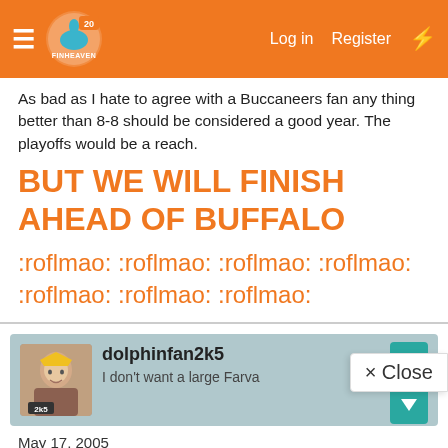FinHeaven — Log in  Register
As bad as I hate to agree with a Buccaneers fan any thing better than 8-8 should be considered a good year. The playoffs would be a reach.
BUT WE WILL FINISH AHEAD OF BUFFALO
:roflmao: :roflmao: :roflmao: :roflmao: :roflmao: :roflmao: :roflmao:
dolphinfan2k5
I don't want a large Farva
May 17, 2005